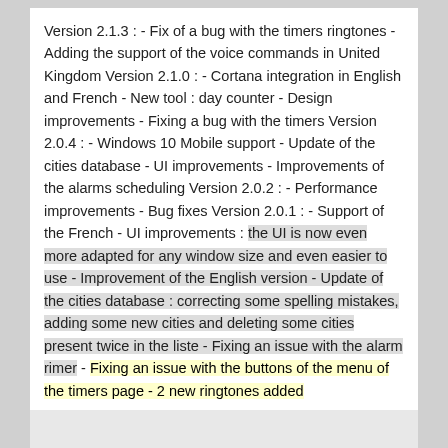Version 2.1.3 : - Fix of a bug with the timers ringtones - Adding the support of the voice commands in United Kingdom Version 2.1.0 : - Cortana integration in English and French - New tool : day counter - Design improvements - Fixing a bug with the timers Version 2.0.4 : - Windows 10 Mobile support - Update of the cities database - UI improvements - Improvements of the alarms scheduling Version 2.0.2 : - Performance improvements - Bug fixes Version 2.0.1 : - Support of the French - UI improvements : the UI is now even more adapted for any window size and even easier to use - Improvement of the English version - Update of the cities database : correcting some spelling mistakes, adding some new cities and deleting some cities present twice in the liste - Fixing an issue with the alarm rimer - Fixing an issue with the buttons of the menu of the timers page - 2 new ringtones added